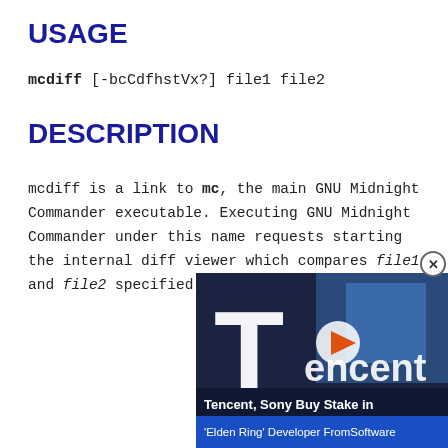USAGE
mcdiff [-bcCdfhstVx?] file1 file2
DESCRIPTION
mcdiff is a link to mc, the main GNU Midnight Commander executable. Executing GNU Midnight Commander under this name requests starting the internal diff viewer which compares file1 and file2 specified on the command line.
[Figure (photo): Advertisement overlay showing a Tencent sign photo with headline 'Tencent, Sony Buy Stake in' and subheadline 'Elden Ring' Developer FromSoftware, with a close button (X) and a play button overlay]